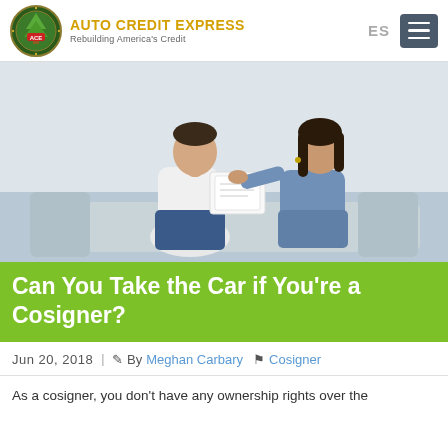AUTO CREDIT EXPRESS — Rebuilding America's Credit
[Figure (photo): A man and woman sitting on a couch looking stressed at paperwork, the woman placing a hand on the man's shoulder comfortingly]
Can You Take the Car if You're a Cosigner?
Jun 20, 2018  |  By Meghan Carbary  Cosigner
As a cosigner, you don't have any ownership rights over the